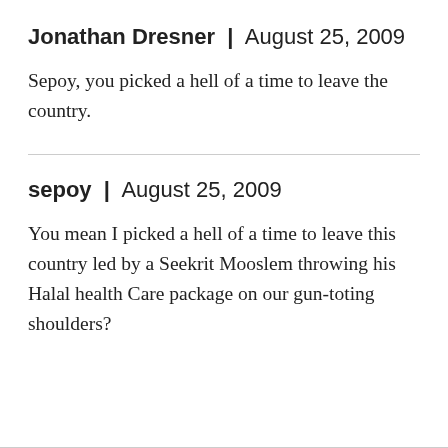Jonathan Dresner | August 25, 2009
Sepoy, you picked a hell of a time to leave the country.
sepoy | August 25, 2009
You mean I picked a hell of a time to leave this country led by a Seekrit Mooslem throwing his Halal health Care package on our gun-toting shoulders?